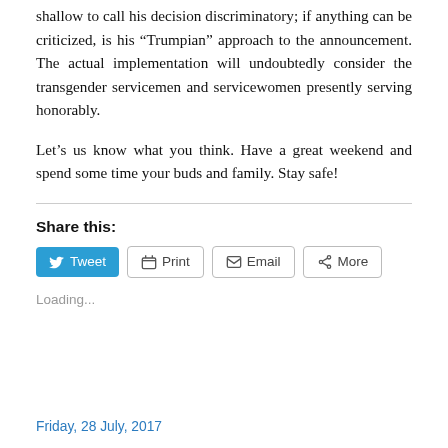shallow to call his decision discriminatory; if anything can be criticized, is his “Trumpian” approach to the announcement. The actual implementation will undoubtedly consider the transgender servicemen and servicewomen presently serving honorably.
Let’s us know what you think. Have a great weekend and spend some time your buds and family. Stay safe!
Share this:
Loading...
Friday, 28 July, 2017